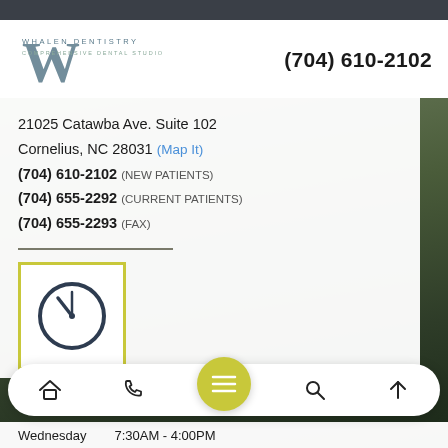[Figure (logo): Whalen Dentistry Comprehensive Dental Studio logo with large W lettermark]
(704) 610-2102
21025 Catawba Ave. Suite 102
Cornelius, NC 28031 (Map It)
(704) 610-2102 (NEW PATIENTS)
(704) 655-2292 (CURRENT PATIENTS)
(704) 655-2293 (FAX)
[Figure (illustration): Clock icon inside a yellow-green square border]
[Figure (screenshot): Mobile bottom navigation bar with home, phone, menu (yellow circle), search, and up arrow icons]
Wednesday    7:30AM - 4:00PM